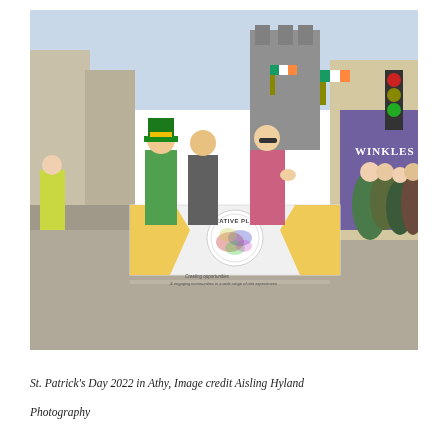[Figure (photo): St. Patrick's Day 2022 parade in Athy town centre. Three people walk in the foreground holding a white and gold 'Creative Places' banner with a colourful rainbow logo. The person on the left wears a green leprechaun hat and colourful outfit, the middle person smiles, and the person on the right waves while wearing a floral top. Behind them is a busy street lined with spectators, buildings including a purple-fronted 'Winkles' shop, Irish tricolour flags, and a traffic light. A Garda officer in high-vis vest is visible on the left.]
St. Patrick's Day 2022 in Athy, Image credit Aisling Hyland Photography